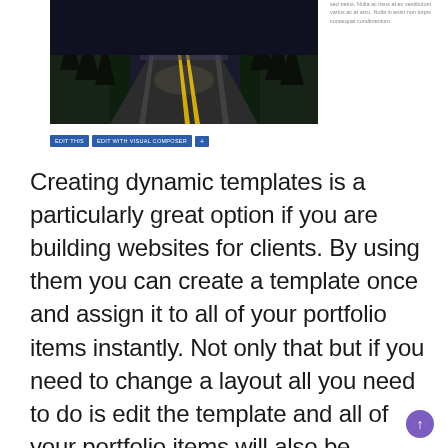[Figure (photo): A winding road at dusk/night with yellow center lines and forest on both sides, viewed from driver's perspective]
sed netus. Nulla ac risus at ex vestibulum varius ac at arcu. Nulla in enim non turpis consequat condimentum.
[Figure (screenshot): Edit toolbar with buttons: EDIT THIS | EDIT WITH VISUAL COMPOSER | +]
Creating dynamic templates is a particularly great option if you are building websites for clients. By using them you can create a template once and assign it to all of your portfolio items instantly. Not only that but if you need to change a layout all you need to do is edit the template and all of your portfolio items will also be updated.